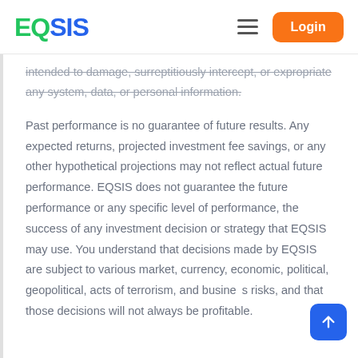EQSIS — Login
intended to damage, surreptitiously intercept, or expropriate any system, data, or personal information.
Past performance is no guarantee of future results. Any expected returns, projected investment fee savings, or any other hypothetical projections may not reflect actual future performance. EQSIS does not guarantee the future performance or any specific level of performance, the success of any investment decision or strategy that EQSIS may use. You understand that decisions made by EQSIS are subject to various market, currency, economic, political, geopolitical, acts of terrorism, and business risks, and that those decisions will not always be profitable.